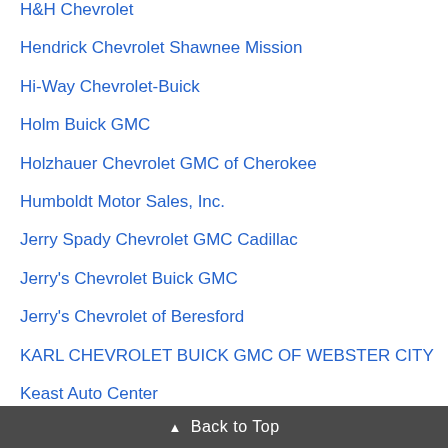H&H Chevrolet
Hendrick Chevrolet Shawnee Mission
Hi-Way Chevrolet-Buick
Holm Buick GMC
Holzhauer Chevrolet GMC of Cherokee
Humboldt Motor Sales, Inc.
Jerry Spady Chevrolet GMC Cadillac
Jerry's Chevrolet Buick GMC
Jerry's Chevrolet of Beresford
KARL CHEVROLET BUICK GMC OF WEBSTER CITY
Keast Auto Center
Kemna Auto Center
Kemna Auto of Fort Dodge
Larson Motors
▲ Back to Top